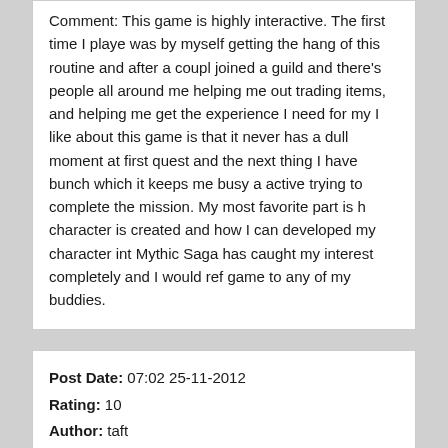Comment: This game is highly interactive. The first time I played was by myself getting the hang of this routine and after a couple joined a guild and there's people all around me helping me out trading items, and helping me get the experience I need for my I like about this game is that it never has a dull moment at first quest and the next thing I have bunch which it keeps me busy active trying to complete the mission. My most favorite part is h character is created and how I can developed my character int Mythic Saga has caught my interest completely and I would ref game to any of my buddies.
Post Date: 07:02 25-11-2012
Rating: 10
Author: taft
Comment: I really enjoy this game, i got a new friends in almos world because of this game.tnx to have it.